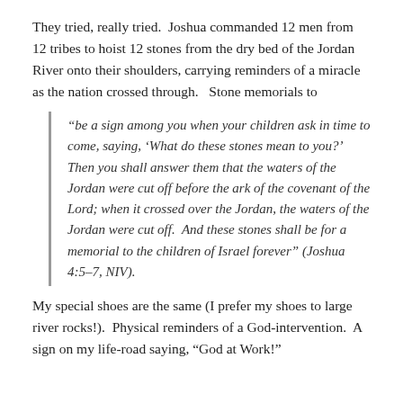They tried, really tried.  Joshua commanded 12 men from 12 tribes to hoist 12 stones from the dry bed of the Jordan River onto their shoulders, carrying reminders of a miracle as the nation crossed through.   Stone memorials to
“be a sign among you when your children ask in time to come, saying, ‘What do these stones mean to you?’  Then you shall answer them that the waters of the Jordan were cut off before the ark of the covenant of the Lord; when it crossed over the Jordan, the waters of the Jordan were cut off.  And these stones shall be for a memorial to the children of Israel forever” (Joshua 4:5–7, NIV).
My special shoes are the same (I prefer my shoes to large river rocks!).  Physical reminders of a God-intervention.  A sign on my life-road saying, “God at Work!”